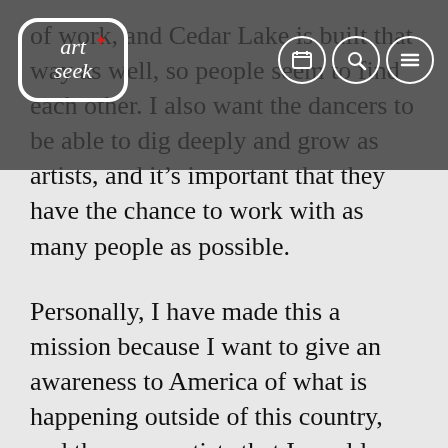art+seek [logo with navigation icons]
of work, and Cedar Lake is built that way as well, so people seem to find each other. I also want the dancers to be able to dig deeply and grow as artists, and it's important that they have the chance to work with as many people as possible.
Personally, I have made this a mission because I want to give an awareness to America of what is happening outside of this country, and these are artists that I would have liked to dance with and for myself.
D.G: But you also produce your own work. Why the decision to commission outside